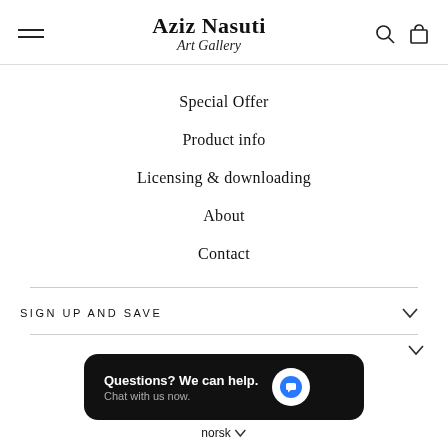Aziz Nasuti Art Gallery
Special Offer
Product info
Licensing & downloading
About
Contact
SIGN UP AND SAVE
Questions? We can help. Chat with us now.
norsk